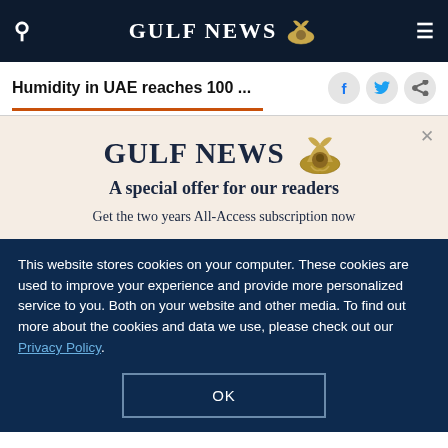GULF NEWS
Humidity in UAE reaches 100 ...
[Figure (other): Gulf News logo with eagle mascot and special offer modal: 'A special offer for our readers - Get the two years All-Access subscription now']
This website stores cookies on your computer. These cookies are used to improve your experience and provide more personalized service to you. Both on your website and other media. To find out more about the cookies and data we use, please check out our Privacy Policy.
OK